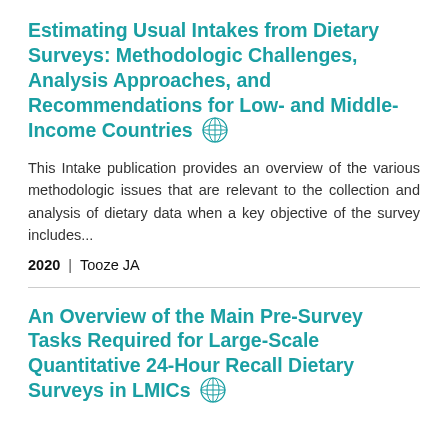Estimating Usual Intakes from Dietary Surveys: Methodologic Challenges, Analysis Approaches, and Recommendations for Low- and Middle-Income Countries
This Intake publication provides an overview of the various methodologic issues that are relevant to the collection and analysis of dietary data when a key objective of the survey includes...
2020 | Tooze JA
An Overview of the Main Pre-Survey Tasks Required for Large-Scale Quantitative 24-Hour Recall Dietary Surveys in LMICs